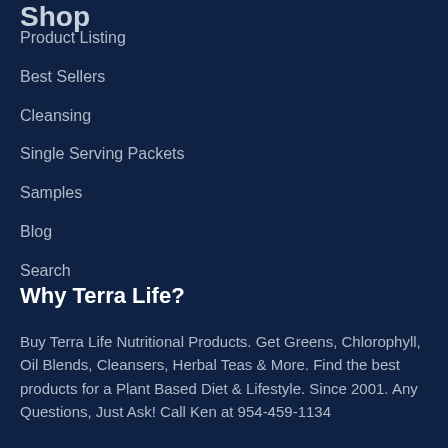Shop
Product Listing
Best Sellers
Cleansing
Single Serving Packets
Samples
Blog
Search
Why Terra Life?
Buy Terra Life Nutritional Products. Get Greens, Chlorophyll, Oil Blends, Cleansers, Herbal Teas & More. Find the best products for a Plant Based Diet & Lifestyle. Since 2001. Any Questions, Just Ask! Call Ken at 954-459-1134